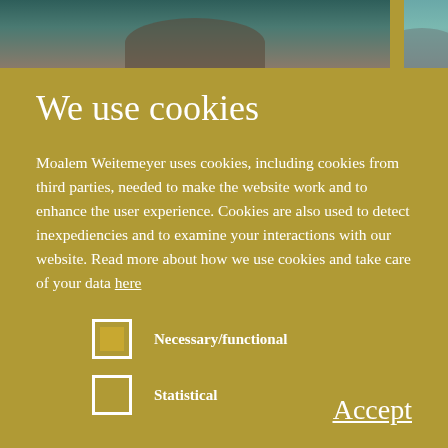[Figure (photo): Top banner showing two portrait photos partially visible: left with dark teal/brown background, right with blue-grey background, separated by a gap]
We use cookies
Moalem Weitemeyer uses cookies, including cookies from third parties, needed to make the website work and to enhance the user experience. Cookies are also used to detect inexpediencies and to examine your interactions with our website. Read more about how we use cookies and take care of your data here
Necessary/functional
Statistical
Accept